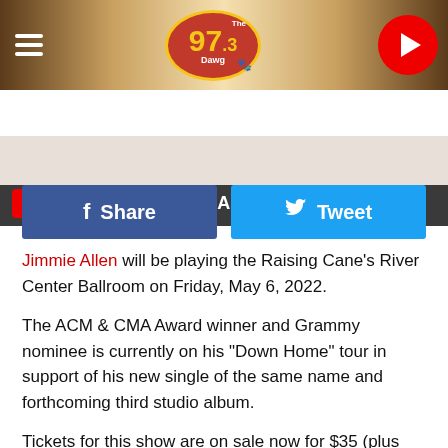[Figure (screenshot): 97.3 The Dawg radio station header banner with logo and play button]
LISTEN NOW ▶  MICHAEL DOT SCOTT
[Figure (other): Facebook Share and Twitter Tweet social buttons]
Jimmie Allen will be playing the Raising Cane's River Center Ballroom on Friday, May 6, 2022.
The ACM & CMA Award winner and Grammy nominee is currently on his "Down Home" tour in support of his new single of the same name and forthcoming third studio album.
Tickets for this show are on sale now for $35 (plus fees) and you can buy yours at Ticketmaster.com.